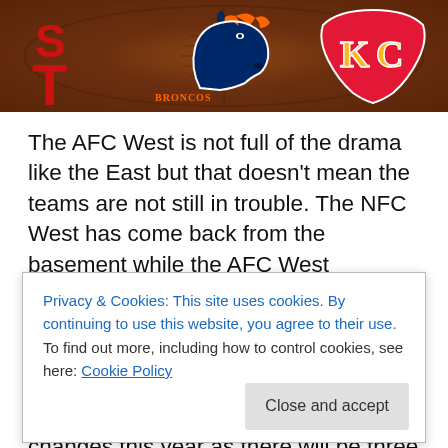[Figure (photo): Header image showing NFL AFC West team logos (Raiders ST, Denver Broncos, Kansas City Chiefs) on a brown football leather background]
The AFC West is not full of the drama like the East but that doesn't mean the teams are not still in trouble. The NFC West has come back from the basement while the AFC West continues to stay in the basement. This year the division is looking at a year where a lot of teams have torn everything down for another rebuild. It could be the division with the most changes this year as there will be three new head coaches in the division while new QBs will
Privacy & Cookies: This site uses cookies. By continuing to use this website, you agree to their use.
To find out more, including how to control cookies, see here: Cookie Policy
Broncos showed the rest of the division what change may